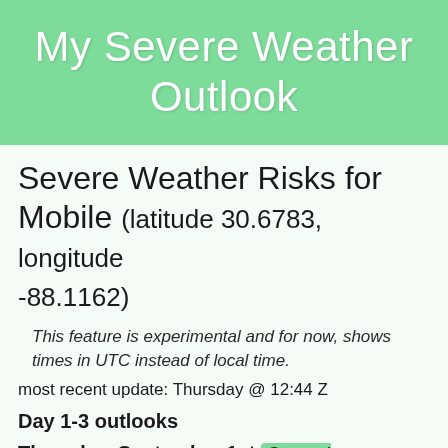My Severe Weather Outlook
Severe Weather Risks for Mobile (latitude 30.6783, longitude -88.1162)
This feature is experimental and for now, shows times in UTC instead of local time.
most recent update: Thursday @ 12:44 Z
Day 1-3 outlooks
Thursday, September 1st General Thunderstorms Risk
Friday, September 2nd General Thunderstorms Risk